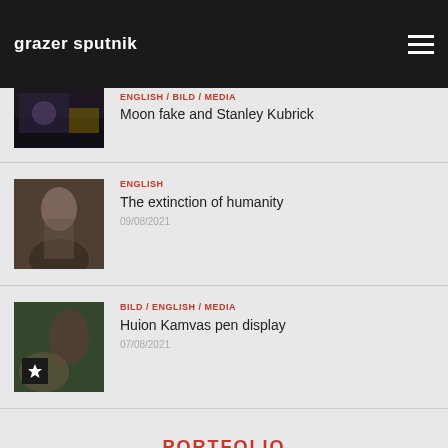grazer sputnik
ENGLISH / BILD / MEDIA
Moon fake and Stanley Kubrick
ENGLISH
The extinction of humanity
09/08/2021
BILD / ENGLISH / MEDIA
Huion Kamvas pen display
07/08/2021
PORTFOLIO
Ja Street!
Portrait